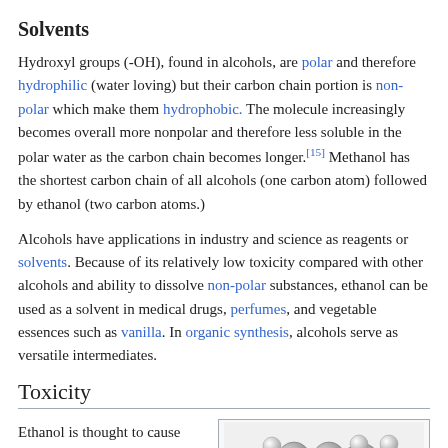Solvents
Hydroxyl groups (-OH), found in alcohols, are polar and therefore hydrophilic (water loving) but their carbon chain portion is non-polar which make them hydrophobic. The molecule increasingly becomes overall more nonpolar and therefore less soluble in the polar water as the carbon chain becomes longer.[15] Methanol has the shortest carbon chain of all alcohols (one carbon atom) followed by ethanol (two carbon atoms.)
Alcohols have applications in industry and science as reagents or solvents. Because of its relatively low toxicity compared with other alcohols and ability to dissolve non-polar substances, ethanol can be used as a solvent in medical drugs, perfumes, and vegetable essences such as vanilla. In organic synthesis, alcohols serve as versatile intermediates.
Toxicity
Ethanol is thought to cause harm partly as a result of
[Figure (photo): Molecular model of ethanol showing ball-and-stick representation with grey and white spheres]